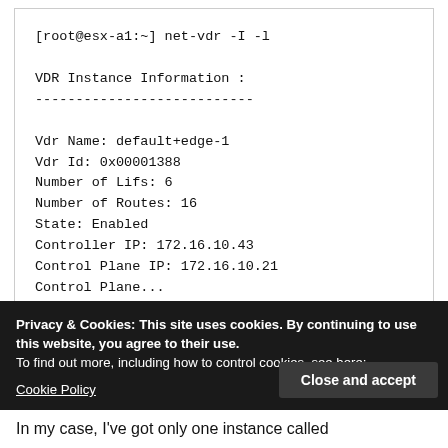[root@esx-a1:~] net-vdr -I -l

VDR Instance Information :
---------------------------

Vdr Name: default+edge-1
Vdr Id: 0x00001388
Number of Lifs: 6
Number of Routes: 16
State: Enabled
Controller IP: 172.16.10.43
Control Plane IP: 172.16.10.21
Control Plane...
Privacy & Cookies: This site uses cookies. By continuing to use this website, you agree to their use.
To find out more, including how to control cookies, see here:
Cookie Policy
Close and accept
In my case, I've got only one instance called